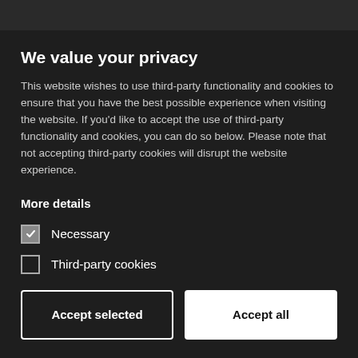We value your privacy
This website wishes to use third-party functionality and cookies to ensure that you have the best possible experience when visiting the website. If you'd like to accept the use of third-party functionality and cookies, you can do so below. Please note that not accepting third-party cookies will disrupt the website experience.
More details
Necessary
Third-party cookies